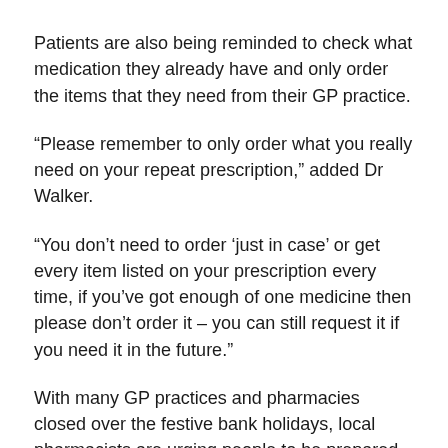Patients are also being reminded to check what medication they already have and only order the items that they need from their GP practice.
“Please remember to only order what you really need on your repeat prescription,” added Dr Walker.
“You don’t need to order ‘just in case’ or get every item listed on your prescription every time, if you’ve got enough of one medicine then please don’t order it – you can still request it if you need it in the future.”
With many GP practices and pharmacies closed over the festive bank holidays, local pharmacists are urging people to be prepared to help them and their families through the season’s most common illnesses.